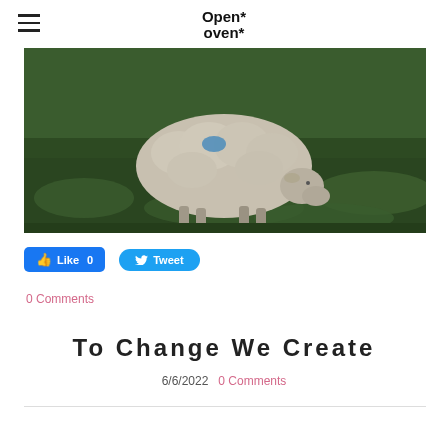Open Oven (logo with hamburger menu)
[Figure (photo): A sheep grazing on green grass, viewed from the side, with a blue mark on its back. Outdoor farm setting.]
Like 0   Tweet
0 Comments
To Change We Create
6/6/2022  0 Comments